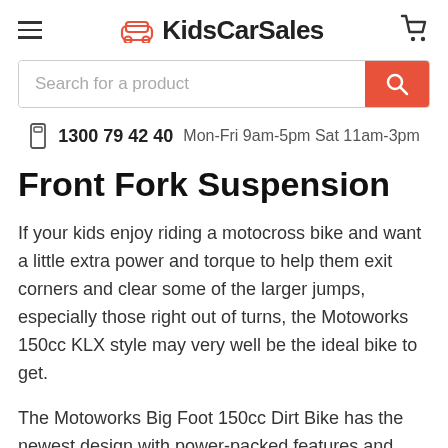KidsCarSales
Search for a product
1300 79 42 40  Mon-Fri 9am-5pm Sat 11am-3pm
Front Fork Suspension
If your kids enjoy riding a motocross bike and want a little extra power and torque to help them exit corners and clear some of the larger jumps, especially those right out of turns, the Motoworks 150cc KLX style may very well be the ideal bike to get.
The Motoworks Big Foot 150cc Dirt Bike has the newest design with power-packed features and performs stronger among